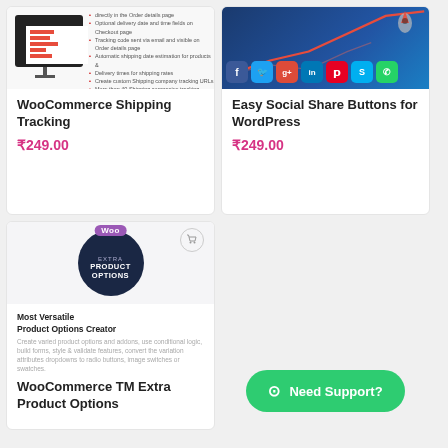[Figure (screenshot): WooCommerce Shipping Tracking plugin screenshot showing a computer monitor with bar charts and bullet point feature list]
WooCommerce Shipping Tracking
₹249.00
[Figure (screenshot): Easy Social Share Buttons for WordPress plugin image showing social media icons (Facebook, Twitter, Google+, LinkedIn, Pinterest, Skype, WhatsApp) on a blue gradient background with an upward arrow line chart]
Easy Social Share Buttons for WordPress
₹249.00
[Figure (screenshot): WooCommerce TM Extra Product Options plugin image showing dark navy circle with Woo branding, EXTRA PRODUCT OPTIONS text, and Most Versatile Product Options Creator description]
WooCommerce TM Extra Product Options
[Figure (other): Green Need Support button with WhatsApp icon]